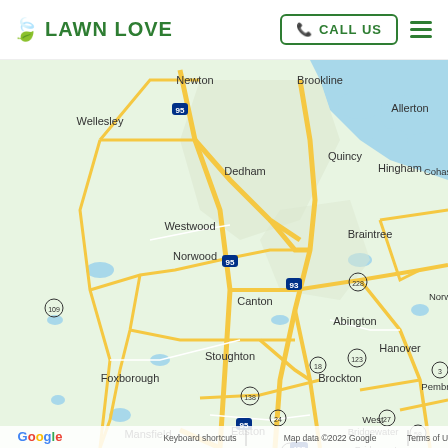[Figure (logo): Lawn Love logo with green leaf icon and green text]
CALL US
[Figure (map): Google Maps view of the South Shore / Greater Boston Massachusetts area showing towns including Newton, Brookline, Wellesley, Dedham, Westwood, Norwood, Canton, Stoughton, Foxborough, Mansfield, Easton, Quincy, Braintree, Abington, Brockton, West Bridgewater, Bridgewater, Hingham, Cohasset, Hanover, Pembroke, Allerton. Major highways shown: I-95, I-93, Route 228, Route 123, Route 18, Route 138, Route 24, Route 27, Route 106, I-495, Route 58, Route 109. Map data ©2022 Google.]